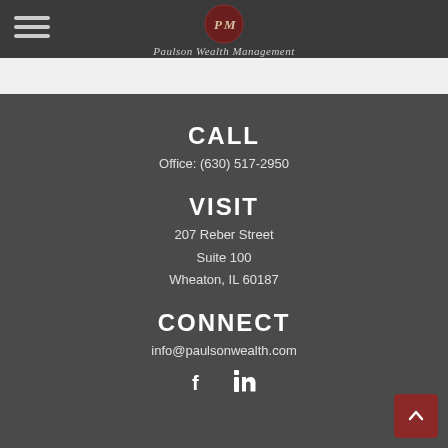[Figure (logo): Paulson Wealth Management logo with PM monogram in dark red circle and script text]
CALL
Office: (630) 517-2950
VISIT
207 Reber Street
Suite 100
Wheaton, IL 60187
CONNECT
info@paulsonwealth.com
[Figure (other): Facebook and LinkedIn social media icons]